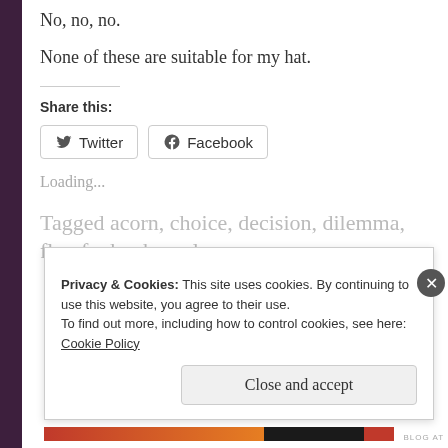No, no, no.
None of these are suitable for my hat.
Share this:
[Figure (other): Twitter and Facebook share buttons]
Loading...
Tagged acorn, choice, decision, dilemma,
Privacy & Cookies: This site uses cookies. By continuing to use this website, you agree to their use.
To find out more, including how to control cookies, see here:
Cookie Policy
Close and accept